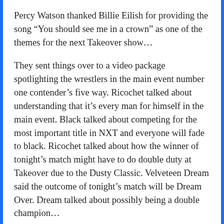Percy Watson thanked Billie Eilish for providing the song “You should see me in a crown” as one of the themes for the next Takeover show…
They sent things over to a video package spotlighting the wrestlers in the main event number one contender’s five way. Ricochet talked about understanding that it’s every man for himself in the main event. Black talked about competing for the most important title in NXT and everyone will fade to black. Ricochet talked about how the winner of tonight’s match might have to do double duty at Takeover due to the Dusty Classic. Velveteen Dream said the outcome of tonight’s match will be Dream Over. Dream talked about possibly being a double champion…
John’s Thoughts: A subtle, but smart attention